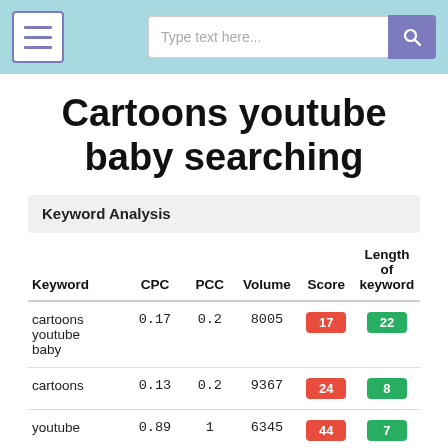Type text here...
Cartoons youtube baby searching
Keyword Analysis
| Keyword | CPC | PCC | Volume | Score | Length of keyword |
| --- | --- | --- | --- | --- | --- |
| cartoons youtube baby | 0.17 | 0.2 | 8005 | 17 | 22 |
| cartoons | 0.13 | 0.2 | 9367 | 24 | 8 |
| youtube | 0.89 | 1 | 6345 | 44 | 7 |
| baby | 0.82 | 0.5 | 975 | 28 | 4 |